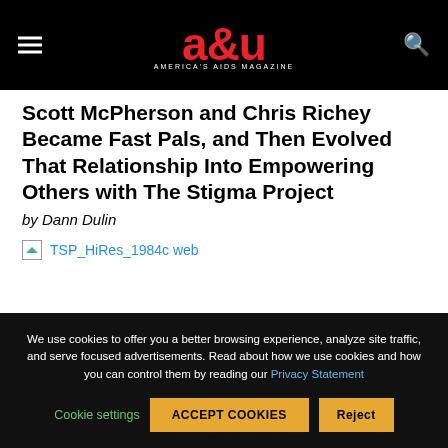a&u AMERICA'S AIDS MAGAZINE
Scott McPherson and Chris Richey Became Fast Pals, and Then Evolved That Relationship Into Empowering Others with The Stigma Project
by Dann Dulin
[Figure (photo): Broken image placeholder with alt text 'TSP_HiRes_1984c web' shown as a link in blue]
We use cookies to offer you a better browsing experience, analyze site traffic, and serve focused advertisements. Read about how we use cookies and how you can control them by reading our Privacy Statement
Cookie settings   ACCEPT COOKIES   Reject